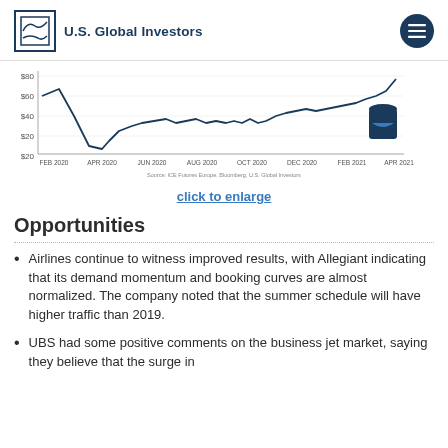U.S. Global Investors
[Figure (continuous-plot): Line chart showing oil price trend from FEB 2020 to APR 2021, with a sharp drop around APR 2020 and recovery through APR 2021. Source: ICE Futures Europe, Bloomberg, U.S. Global Investors.]
click to enlarge
Opportunities
Airlines continue to witness improved results, with Allegiant indicating that its demand momentum and booking curves are almost normalized. The company noted that the summer schedule will have higher traffic than 2019.
UBS had some positive comments on the business jet market, saying they believe that the surge in